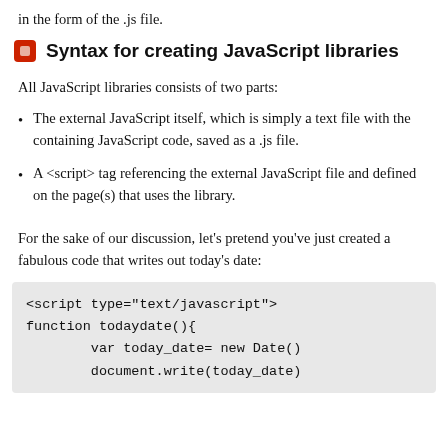in the form of the .js file.
Syntax for creating JavaScript libraries
All JavaScript libraries consists of two parts:
The external JavaScript itself, which is simply a text file with the containing JavaScript code, saved as a .js file.
A <script> tag referencing the external JavaScript file and defined on the page(s) that uses the library.
For the sake of our discussion, let's pretend you've just created a fabulous code that writes out today's date:
<script type="text/javascript">
function todaydate(){
        var today_date= new Date()
        document.write(today_date)